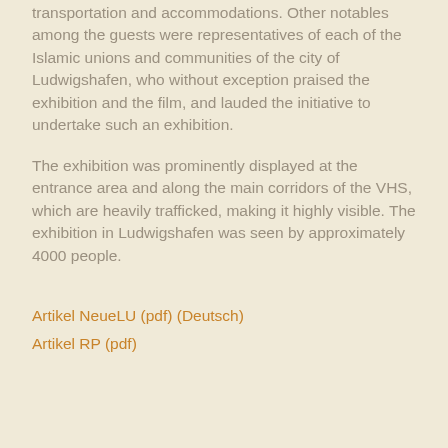transportation and accommodations. Other notables among the guests were representatives of each of the Islamic unions and communities of the city of Ludwigshafen, who without exception praised the exhibition and the film, and lauded the initiative to undertake such an exhibition.
The exhibition was prominently displayed at the entrance area and along the main corridors of the VHS, which are heavily trafficked, making it highly visible. The exhibition in Ludwigshafen was seen by approximately 4000 people.
Artikel NeueLU (pdf) (Deutsch)
Artikel RP (pdf)